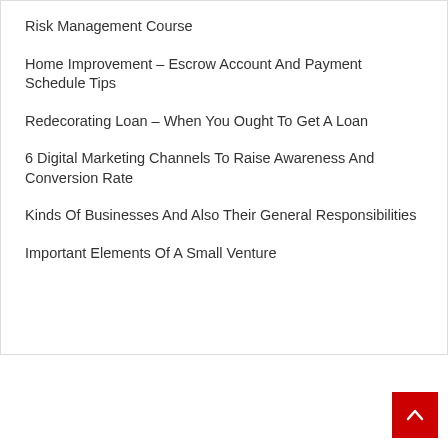Risk Management Course
Home Improvement – Escrow Account And Payment Schedule Tips
Redecorating Loan – When You Ought To Get A Loan
6 Digital Marketing Channels To Raise Awareness And Conversion Rate
Kinds Of Businesses And Also Their General Responsibilities
Important Elements Of A Small Venture